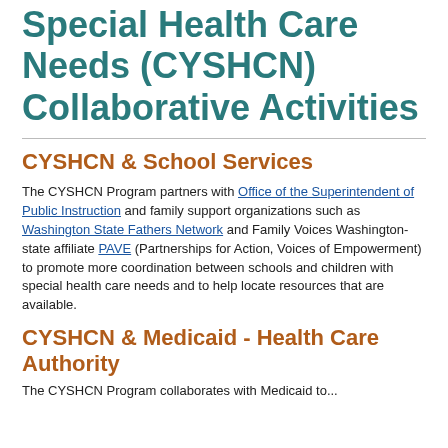Special Health Care Needs (CYSHCN) Collaborative Activities
CYSHCN & School Services
The CYSHCN Program partners with Office of the Superintendent of Public Instruction and family support organizations such as Washington State Fathers Network and Family Voices Washington-state affiliate PAVE (Partnerships for Action, Voices of Empowerment) to promote more coordination between schools and children with special health care needs and to help locate resources that are available.
CYSHCN & Medicaid - Health Care Authority
The CYSHCN Program collaborates with Medicaid to...